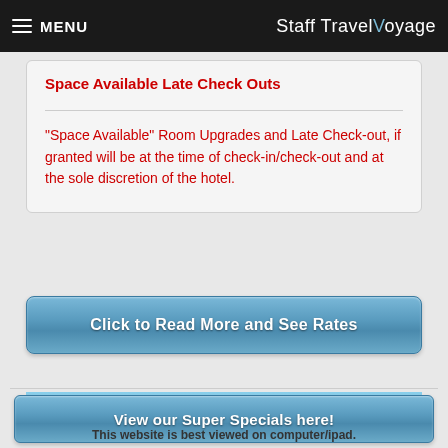MENU | Staff Travel Voyage
Space Available Late Check Outs
"Space Available" Room Upgrades and Late Check-out, if granted will be at the time of check-in/check-out and at the sole discretion of the hotel.
Click to Read More and See Rates
[Figure (photo): Sky/landscape banner image with blue sky and mountains]
View our Super Specials here!
This website is best viewed on computer/ipad.